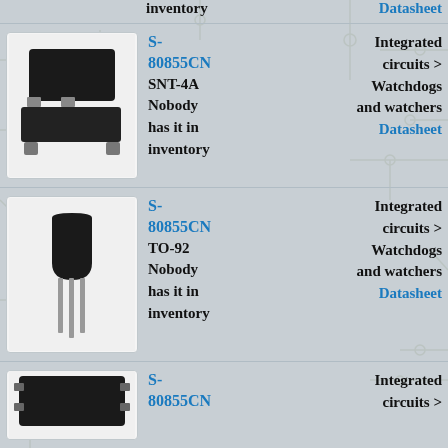inventory
Datasheet
[Figure (photo): SNT-4A package IC component, black rectangular surface mount package with leads]
S-80855CN SNT-4A Nobody has it in inventory
Integrated circuits > Watchdogs and watchers Datasheet
[Figure (photo): TO-92 package component, black cylindrical body with three metal leads]
S-80855CN TO-92 Nobody has it in inventory
Integrated circuits > Watchdogs and watchers Datasheet
[Figure (photo): Small IC component, partial view at bottom]
S-80855CN
Integrated circuits >